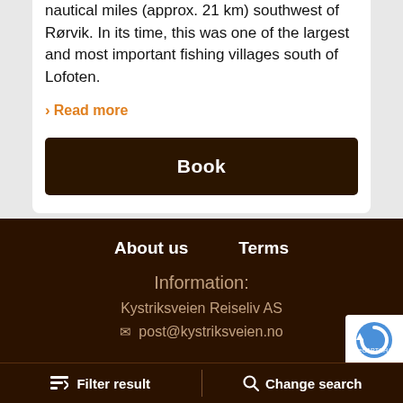nautical miles (approx. 21 km) southwest of Rørvik. In its time, this was one of the largest and most important fishing villages south of Lofoten.
> Read more
Book
About us   Terms
Information:
Kystriksveien Reiseliv AS
post@kystriksveien.no
Filter result   Change search